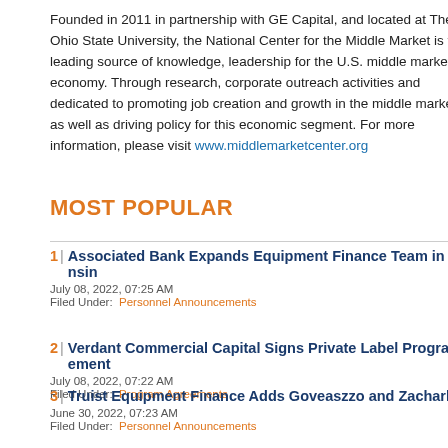Founded in 2011 in partnership with GE Capital, and located at The Ohio State University, the National Center for the Middle Market is the leading source of knowledge, leadership for the U.S. middle market economy. Through research, corporate outreach activities and events, it is dedicated to promoting job creation and growth in the middle market as well as driving policy for this economic segment. For more information, please visit www.middlemarketcenter.org
MOST POPULAR
1 | Associated Bank Expands Equipment Finance Team in Wisconsin
July 08, 2022, 07:25 AM
Filed Under: Personnel Announcements
2 | Verdant Commercial Capital Signs Private Label Program Agreement
July 08, 2022, 07:22 AM
Filed Under: Program Agreements
3 | Truist Equipment Finance Adds Goveaszzo and Zacharko
June 30, 2022, 07:23 AM
Filed Under: Personnel Announcements